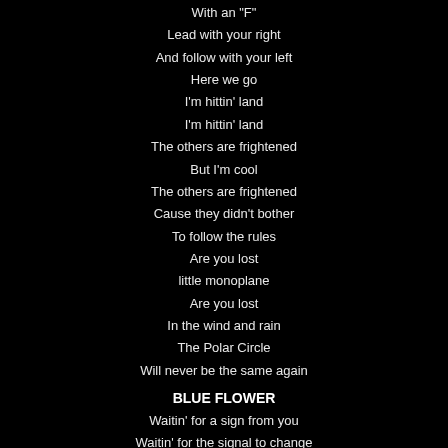With an "F"
Lead with your right
And follow with your left
Here we go
I'm hittin' land
I'm hittin' land
The others are frightened
But I'm cool
The others are frightened
Cause they didn't bother
To follow the rules
Are you lost
little monoplane
Are you lost
In the wind and rain
The Polar Circle
Will never be the same again
BLUE FLOWER
Waitin' for a sign from you
Waitin' for the signal to change
Have you forgotten what true love can do
Is this the end
Can we still be friends
Walkin' through the city
Your boots are highheeled and shining bright
The sun was sparkling on the shaft of your k
Blue flower in the morning rain
Dyin' in my hand